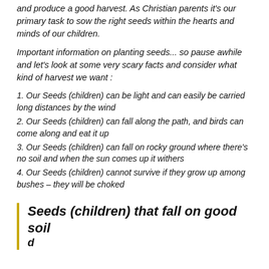and produce a good harvest. As Christian parents it's our primary task to sow the right seeds within the hearts and minds of our children.
Important information on planting seeds... so pause awhile and let's look at some very scary facts and consider what kind of harvest we want :
1. Our Seeds (children) can be light and can easily be carried long distances by the wind
2. Our Seeds (children) can fall along the path, and birds can come along and eat it up
3. Our Seeds (children) can fall on rocky ground where there's no soil and when the sun comes up it withers
4. Our Seeds (children) cannot survive if they grow up among bushes – they will be choked
Seeds (children) that fall on good soil